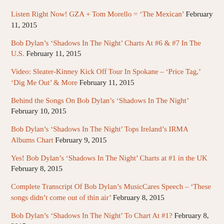Listen Right Now! GZA + Tom Morello = 'The Mexican' February 11, 2015
Bob Dylan's 'Shadows In The Night' Charts At #6 & #7 In The U.S. February 11, 2015
Video: Sleater-Kinney Kick Off Tour In Spokane – 'Price Tag,' 'Dig Me Out' & More February 11, 2015
Behind the Songs On Bob Dylan's 'Shadows In The Night' February 10, 2015
Bob Dylan's 'Shadows In The Night' Tops Ireland's IRMA Albums Chart February 9, 2015
Yes! Bob Dylan's 'Shadows In The Night' Charts at #1 in the UK February 8, 2015
Complete Transcript Of Bob Dylan's MusicCares Speech – 'These songs didn't come out of thin air' February 8, 2015
Bob Dylan's 'Shadows In The Night' To Chart At #1? February 8, 2015
Audio: Bob Dylan Interviewed By Martin Bronstein 1966 – 'this piece of vomit, 20 pages long' February 5, 2015